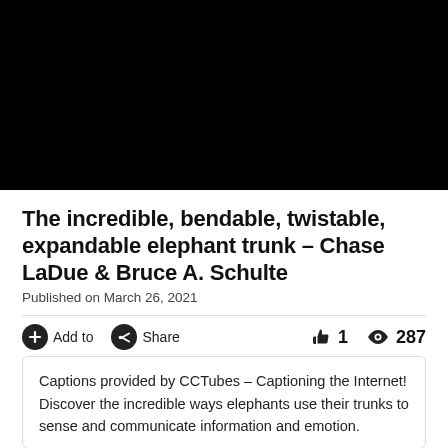[Figure (photo): Black video thumbnail/player area]
The incredible, bendable, twistable, expandable elephant trunk – Chase LaDue & Bruce A. Schulte
Published on March 26, 2021
Add to   Share   1   287
Captions provided by CCTubes – Captioning the Internet! Discover the incredible ways elephants use their trunks to sense and communicate information and emotion.